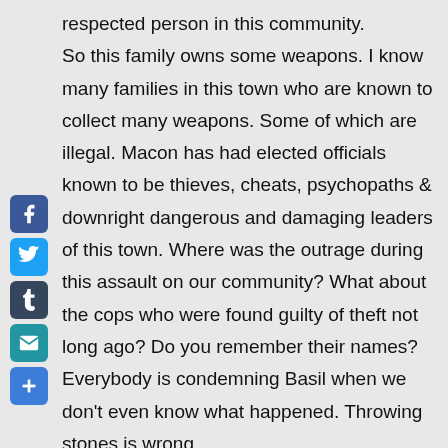respected person in this community. So this family owns some weapons. I know many families in this town who are known to collect many weapons. Some of which are illegal. Macon has had elected officials known to be thieves, cheats, psychopaths & downright dangerous and damaging leaders of this town. Where was the outrage during this assault on our community? What about the cops who were found guilty of theft not long ago? Do you remember their names? Everybody is condemning Basil when we don't even know what happened. Throwing stones is wrong. We don't know what happened yet. Hopefully we will. I hope everyone reading this never finds